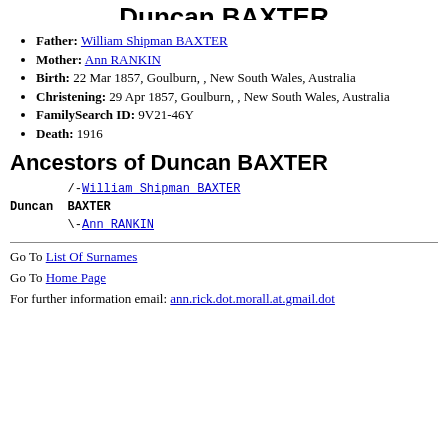Duncan BAXTER
Father: William Shipman BAXTER
Mother: Ann RANKIN
Birth: 22 Mar 1857, Goulburn, , New South Wales, Australia
Christening: 29 Apr 1857, Goulburn, , New South Wales, Australia
FamilySearch ID: 9V21-46Y
Death: 1916
Ancestors of Duncan BAXTER
/-William Shipman BAXTER
Duncan  BAXTER
\-Ann RANKIN
Go To List Of Surnames
Go To Home Page
For further information email: ann.rick.dot.morall.at.gmail.dot